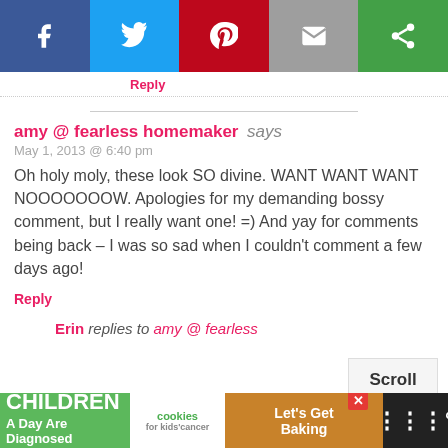[Figure (infographic): Social share bar with Facebook, Twitter, Pinterest, Email, and a green share button]
Reply
amy @ fearless homemaker says
May 1, 2013 @ 6:40 pm

Oh holy moly, these look SO divine. WANT WANT WANT NOOOOOOOW. Apologies for my demanding bossy comment, but I really want one! =) And yay for comments being back – I was so sad when I couldn't comment a few days ago!
Reply
Erin replies to amy @ fearless
[Figure (infographic): Advertisement banner: 43 CHILDREN A Day Are Diagnosed With Cancer in the U.S. - cookies for kids cancer - Let's Get Baking]